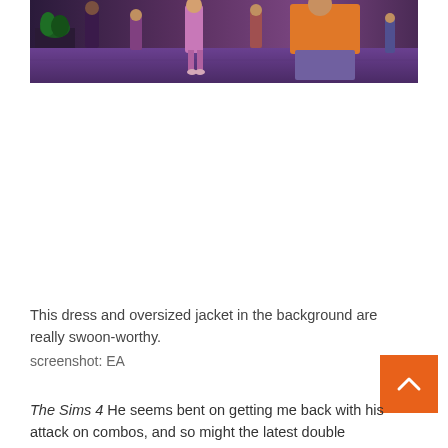[Figure (screenshot): Screenshot from The Sims 4 showing characters in a street scene with a woman in a purple dress and a person in an orange oversized jacket in the background, with other Sims walking on a purple-tinted plaza.]
This dress and oversized jacket in the background are really swoon-worthy. screenshot: EA
The Sims 4 He seems bent on getting me back with his attack on combos, and so might the latest double